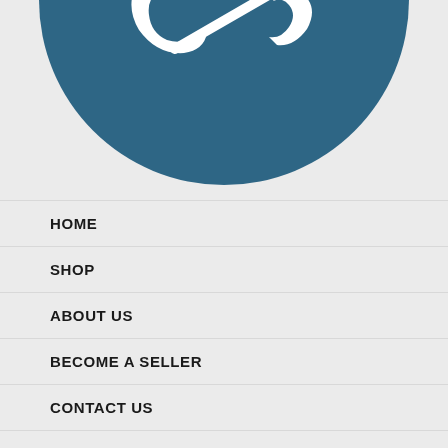[Figure (logo): Circular dark blue logo showing two hands with stylized line patterns, cropped to show the bottom half of the circle]
HOME
SHOP
ABOUT US
BECOME A SELLER
CONTACT US